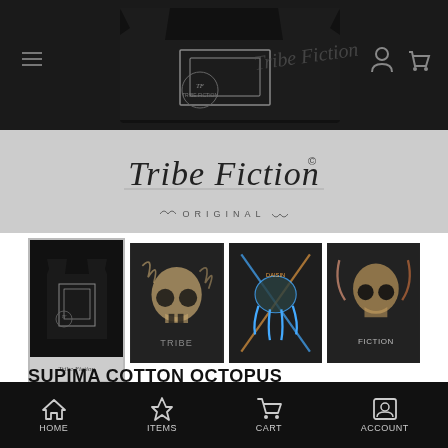[Figure (photo): Black t-shirt with graphic design on dark background, shown folded/displayed from back]
[Figure (logo): Tribe Fiction script logo with 'ORIGINAL' text below on grey background]
[Figure (photo): Thumbnail 1: Full t-shirt product shot on black background with Tribe Fiction label below]
[Figure (photo): Thumbnail 2: Close-up of skull graphic art detail on dark fabric]
[Figure (photo): Thumbnail 3: Close-up of colorful neon graphic details with text]
[Figure (photo): Thumbnail 4: Close-up of illustrated skull/character art on dark fabric]
SUPIMA COTTON OCTOPUS
Supima Cotton
HOME   ITEMS   CART   ACCOUNT